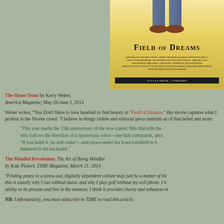[Figure (illustration): Field of Dreams movie poster with yellow/golden background, legs/feet visible at top, title text 'Field of Dreams' in bold serif font, with credits below]
The Home Team by Kerry Weber, America Magazine, May 26-June 2, 2014
Weber writes, "You Don't Have to love baseball to find beauty in "Field of Dreams." this movie captures what I profess in the Nicene creed: "I believe in things visible and editorial piece reminds us of that belief and more:
"This year marks the 25th anniversary of the now classic film that tells the who follows the direction of a mysterious voice—one that commands, amo "If you build it, he will come"—and plows under his Iowa cornfield to b diamond in his backyard."
The Mindful Revolution: The Art of Being Mindful by Kate Pickert, TIME Magazine, March 31. 2014
"Finding peace in a stress-out, digitally dependent culture may just be a matter of thi this is exactly why I run without music and why I play golf without my cell phone. I h ability to be present and live in the moment. I think it provides clarity and enhances m
NB: Unfortunately, you must subscribe to TIME to read this article.